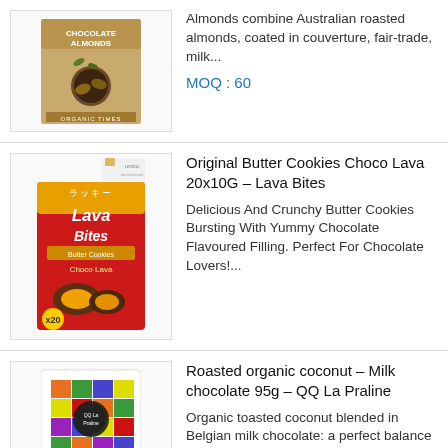[Figure (photo): Product photo of Organic Times Chocolate Almonds box on white background]
Almonds combine Australian roasted almonds, coated in couverture, fair-trade, milk...
MOQ : 60
[Figure (photo): Product photo of Lava Bites Original Butter Cookies Choco Lava 20x10G box]
Original Butter Cookies Choco Lava 20x10G – Lava Bites
Delicious And Crunchy Butter Cookies Bursting With Yummy Chocolate Flavoured Filling. Perfect For Chocolate Lovers!...
[Figure (photo): Product photo of QQ La Praline colorful grid chocolate bar packaging]
Roasted organic coconut – Milk chocolate 95g – QQ La Praline
Organic toasted coconut blended in Belgian milk chocolate: a perfect balance between freshness and creaminess. Ingredients: Milk...